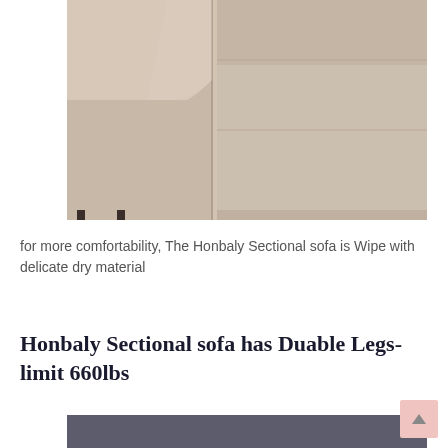[Figure (photo): Close-up of a beige/tan sectional sofa armrest and seat cushion, showing the fabric texture and stitching detail]
for more comfortability, The Honbaly Sectional sofa is Wipe with delicate dry material
Honbaly Sectional sofa has Duable Legs-limit 660lbs
[Figure (photo): Partial view of dark grey/charcoal sectional sofa legs or base, cropped at bottom of page]